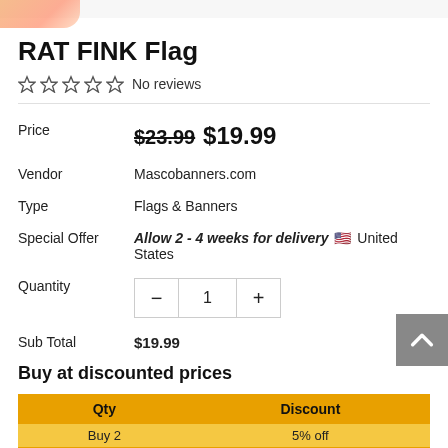RAT FINK Flag
No reviews
| Price | $23.99  $19.99 |
| Vendor | Mascobanners.com |
| Type | Flags & Banners |
| Special Offer | Allow 2 - 4 weeks for delivery 🇺🇸 United States |
| Quantity | 1 |
| Sub Total | $19.99 |
Buy at discounted prices
| Qty | Discount |
| --- | --- |
| Buy 2 | 5% off |